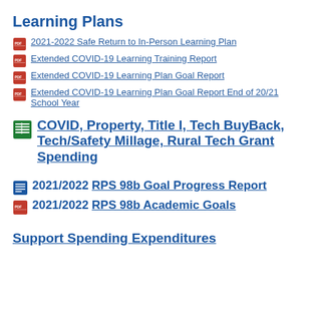Learning Plans
2021-2022 Safe Return to In-Person Learning Plan
Extended COVID-19 Learning Training Report
Extended COVID-19 Learning Plan Goal Report
Extended COVID-19 Learning Plan Goal Report End of 20/21 School Year
COVID, Property, Title I, Tech BuyBack, Tech/Safety Millage, Rural Tech Grant Spending
2021/2022 RPS 98b Goal Progress Report
2021/2022 RPS 98b Academic Goals
Support Spending Expenditures (partial, cut off)